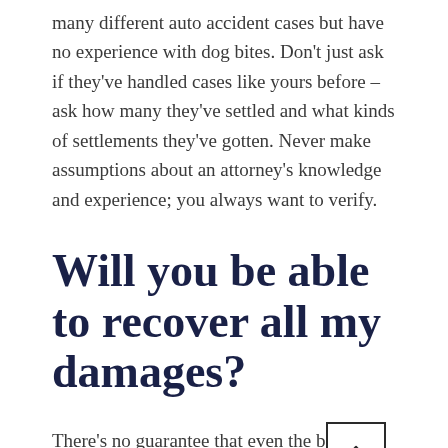many different auto accident cases but have no experience with dog bites. Don't just ask if they've handled cases like yours before – ask how many they've settled and what kinds of settlements they've gotten. Never make assumptions about an attorney's knowledge and experience; you always want to verify.
Will you be able to recover all my damages?
There's no guarantee that even the best attorney can recover all your expenses, medical or otherwise. Insurance companies have their own standards for